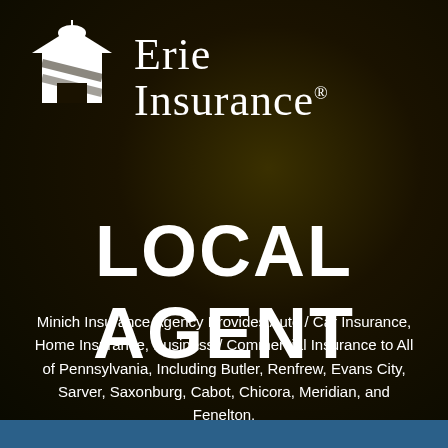[Figure (logo): Erie Insurance logo with building icon and text 'Erie Insurance' with registered trademark symbol]
LOCAL AGENT
Minich Insurance Agency Provides Auto / Car Insurance, Home Insurance, Business / Commercial Insurance to All of Pennsylvania, Including Butler, Renfrew, Evans City, Sarver, Saxonburg, Cabot, Chicora, Meridian, and Fenelton.